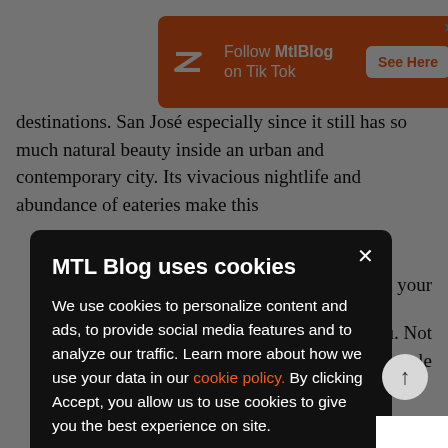[Figure (screenshot): Orange MtlBlog advertisement banner saying 'Follow MtlBlog on Tik Tok' with white See Here button and close X]
destinations. San José especially since it still has so much natural beauty inside an urban and contemporary city. Its vivacious nightlife and abundance of eateries make this ... n your
MTL Blog uses cookies
We use cookies to personalize content and ads, to provide social media features and to analyze our traffic. Learn more about how we use your data in our cookie policy. By clicking Accept, you allow us to use cookies to give you the best experience on site.
Accept